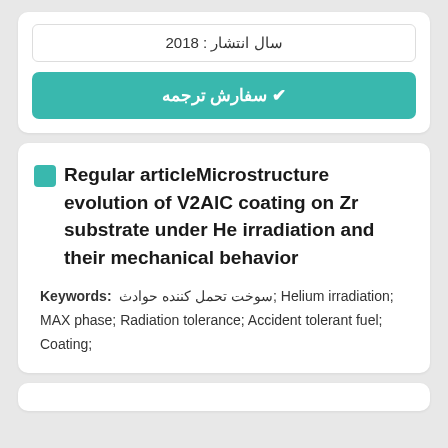سال انتشار : 2018
✔ سفارش ترجمه
Regular articleMicrostructure evolution of V2AlC coating on Zr substrate under He irradiation and their mechanical behavior
Keywords: سوخت تحمل کننده حوادث; Helium irradiation; MAX phase; Radiation tolerance; Accident tolerant fuel; Coating;